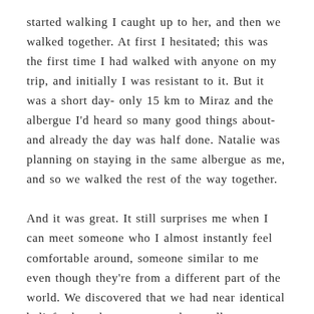started walking I caught up to her, and then we walked together. At first I hesitated; this was the first time I had walked with anyone on my trip, and initially I was resistant to it. But it was a short day- only 15 km to Miraz and the albergue I'd heard so many good things about- and already the day was half done. Natalie was planning on staying in the same albergue as me, and so we walked the rest of the way together.
And it was great. It still surprises me when I can meet someone who I almost instantly feel comfortable around, someone similar to me even though they're from a different part of the world. We discovered that we had near identical beliefs about how we wanted to walk our Caminos: connecting with others when it felt right, but always going our own way and following our instincts, which often meant walking alone and not